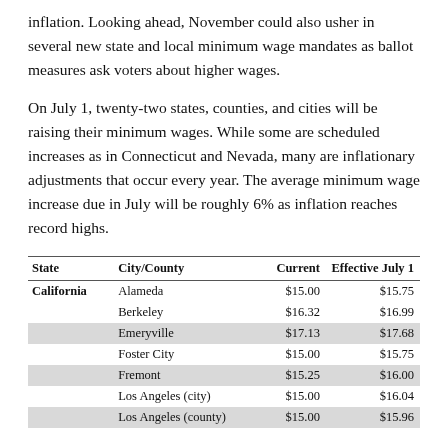inflation. Looking ahead, November could also usher in several new state and local minimum wage mandates as ballot measures ask voters about higher wages.
On July 1, twenty-two states, counties, and cities will be raising their minimum wages. While some are scheduled increases as in Connecticut and Nevada, many are inflationary adjustments that occur every year. The average minimum wage increase due in July will be roughly 6% as inflation reaches record highs.
| State | City/County | Current | Effective July 1 |
| --- | --- | --- | --- |
| California | Alameda | $15.00 | $15.75 |
|  | Berkeley | $16.32 | $16.99 |
|  | Emeryville | $17.13 | $17.68 |
|  | Foster City | $15.00 | $15.75 |
|  | Fremont | $15.25 | $16.00 |
|  | Los Angeles (city) | $15.00 | $16.04 |
|  | Los Angeles (county) | $15.00 | $15.96 |